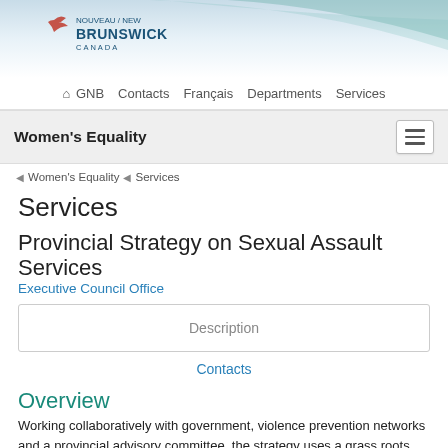[Figure (logo): New Brunswick Canada government logo with bird icon and teal arc banner]
GNB  Contacts  Français  Departments  Services
Women's Equality
Women's Equality  Services
Services
Provincial Strategy on Sexual Assault Services
Executive Council Office
Description
Contacts
Overview
Working collaboratively with government, violence prevention networks and a provincial advisory committee, the strategy uses a grass roots approach to effectively identify community needs and implement